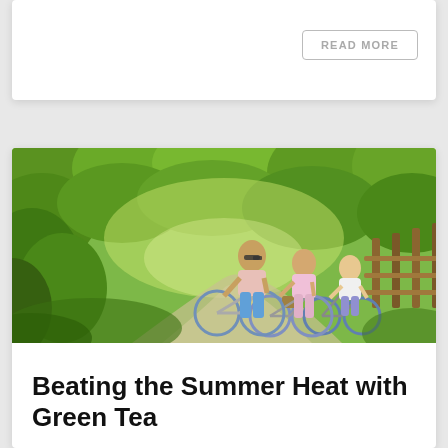READ MORE
[Figure (photo): Family of three riding bicycles on a sunny tree-lined path with a wooden fence on the right side]
Beating the Summer Heat with Green Tea
July 30, 2021